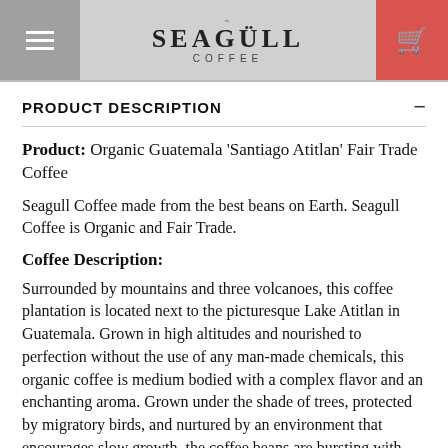Seagull Coffee
PRODUCT DESCRIPTION
Product: Organic Guatemala 'Santiago Atitlan' Fair Trade Coffee
Seagull Coffee made from the best beans on Earth. Seagull Coffee is Organic and Fair Trade.
Coffee Description:
Surrounded by mountains and three volcanoes, this coffee plantation is located next to the picturesque Lake Atitlan in Guatemala. Grown in high altitudes and nourished to perfection without the use of any man-made chemicals, this organic coffee is medium bodied with a complex flavor and an enchanting aroma. Grown under the shade of trees, protected by migratory birds, and nurtured by an environment that encourages slow growth, the coffee beans are bursting with bold and rich flavors by the time they